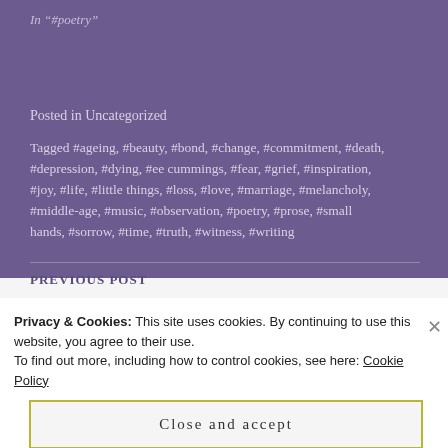In "#poetry"
Posted in Uncategorized
Tagged #ageing, #beauty, #bond, #change, #commitment, #death, #depression, #dying, #ee cummings, #fear, #grief, #inspiration, #joy, #life, #little things, #loss, #love, #marriage, #melancholy, #middle-age, #music, #observation, #poetry, #prose, #small hands, #sorrow, #time, #truth, #witness, #writing
PREVIOUS POST
Privacy & Cookies: This site uses cookies. By continuing to use this website, you agree to their use.
To find out more, including how to control cookies, see here: Cookie Policy
Close and accept